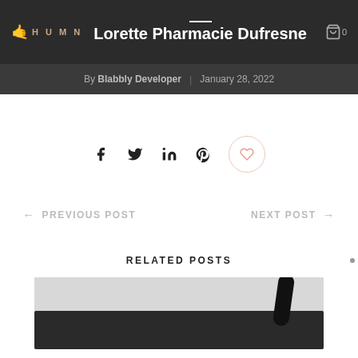HUMN  Lorette Pharmacie Dufresne
By Blabbly Developer  |  January 28, 2022
[Figure (infographic): Social sharing icons: Facebook, Twitter, LinkedIn, Pinterest, and a heart/like button]
← PREVIOUS POST    NEXT POST →
RELATED POSTS
[Figure (photo): Photo of a black face mask with elastic strap]